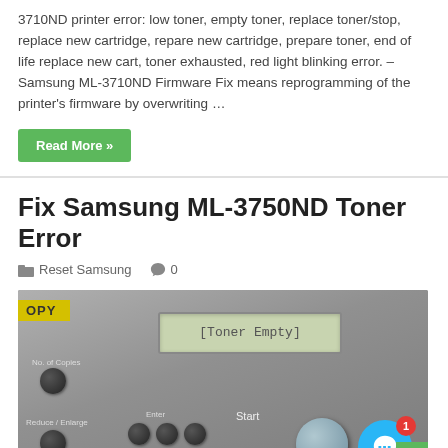3710ND printer error: low toner, empty toner, replace toner/stop, replace new cartridge, repare new cartridge, prepare toner, end of life replace new cart, toner exhausted, red light blinking error. – Samsung ML-3710ND Firmware Fix means reprogramming of the printer's firmware by overwriting …
Read More »
Fix Samsung ML-3750ND Toner Error
Reset Samsung  0
[Figure (photo): Photo of a Samsung ML-3750ND printer control panel showing the LCD display reading '[Toner Empty]', with buttons for No. of Copies, Reduce/Enlarge, Favorite Copy, Enter, Menu, and a large Start button. A chat widget with notification badge (1) is overlaid in the bottom right corner.]